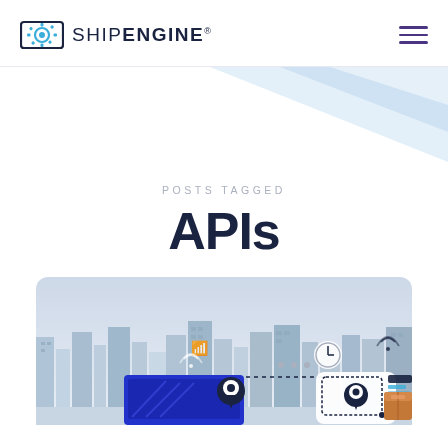SHIPENGINE®
[Figure (illustration): Decorative geometric triangles in light blue forming a background hero shape]
POSTS TAGGED
APIs
[Figure (illustration): Shipping and logistics illustration featuring a city skyline, location pin markers, dotted path lines, wifi symbols, a clock icon, a dashed-border location card with pin, and shipping boxes on a light blue/purple background]